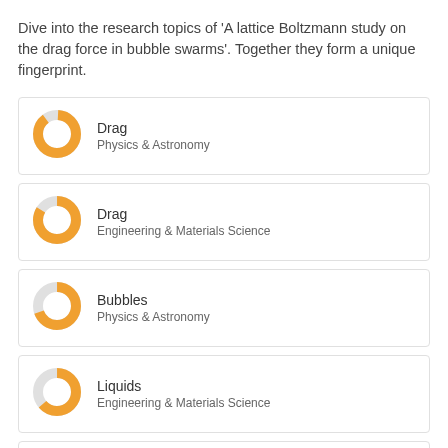Dive into the research topics of 'A lattice Boltzmann study on the drag force in bubble swarms'. Together they form a unique fingerprint.
Drag — Physics & Astronomy
Drag — Engineering & Materials Science
Bubbles — Physics & Astronomy
Liquids — Engineering & Materials Science
Gases — Engineering & Materials Science